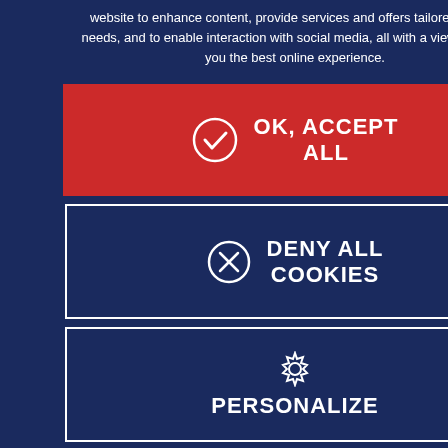website to enhance content, provide services and offers tailored to user needs, and to enable interaction with social media, all with a view to giving you the best online experience.
COMPARE
NORTH AMERICA - EN
REQUEST AN OFFER
SPECS
[Figure (illustration): Sailboat hull side view illustration]
HULL LENGTH
9.99 M / 32'9"
OK, ACCEPT ALL
DENY ALL COOKIES
PERSONALIZE
Privacy policy